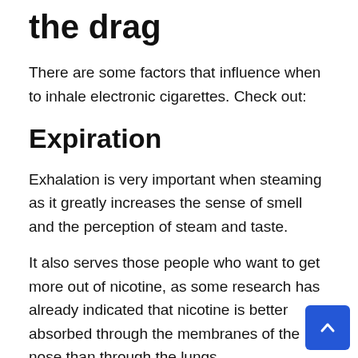the drag
There are some factors that influence when to inhale electronic cigarettes. Check out:
Expiration
Exhalation is very important when steaming as it greatly increases the sense of smell and the perception of steam and taste.
It also serves those people who want to get more out of nicotine, as some research has already indicated that nicotine is better absorbed through the membranes of the nose than through the lungs.
D...Ti...